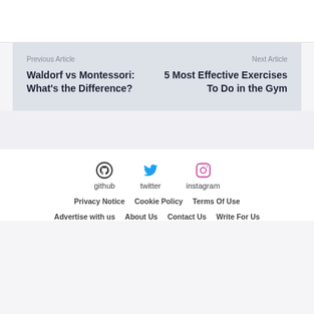Previous Article
Waldorf vs Montessori: What's the Difference?
Next Article
5 Most Effective Exercises To Do in the Gym
github
twitter
instagram
Privacy Notice   Cookie Policy   Terms Of Use   Advertise with us   About Us   Contact Us   Write For Us